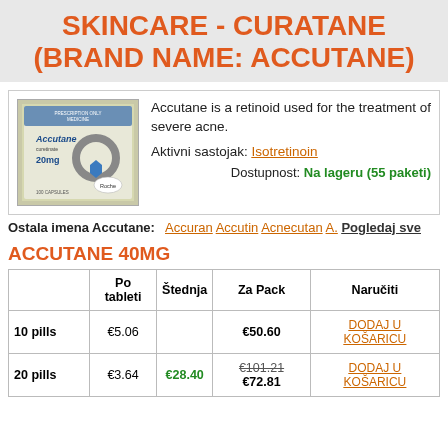SKINCARE - CURATANE (BRAND NAME: ACCUTANE)
[Figure (photo): Photo of Accutane 20mg capsule box (Roche), prescription only medicine]
Accutane is a retinoid used for the treatment of severe acne.
Aktivni sastojak: Isotretinoin
Dostupnost: Na lageru (55 paketi)
Ostala imena Accutane: Accuran Accutin Acnecutan A. Pogledaj sve
ACCUTANE 40MG
|  | Po tableti | Štednja | Za Pack | Naručiti |
| --- | --- | --- | --- | --- |
| 10 pills | €5.06 |  | €50.60 | DODAJ U KOŠARICU |
| 20 pills | €3.64 | €28.40 | €101.21 €72.81 | DODAJ U KOŠARICU |